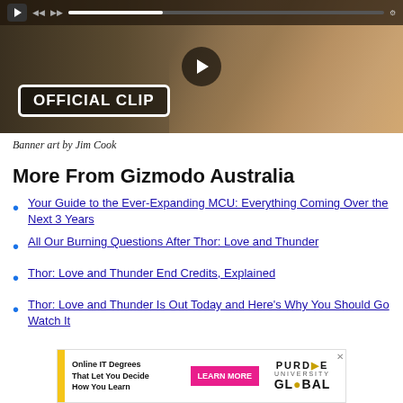[Figure (screenshot): Video thumbnail showing official clip badge over a dark cinematic scene with a man in a jacket. Play button visible at top and center.]
Banner art by Jim Cook
More From Gizmodo Australia
Your Guide to the Ever-Expanding MCU: Everything Coming Over the Next 3 Years
All Our Burning Questions After Thor: Love and Thunder
Thor: Love and Thunder End Credits, Explained
Thor: Love and Thunder Is Out Today and Here's Why You Should Go Watch It
[Figure (screenshot): Advertisement banner for Purdue University Global online IT degrees with yellow accent, pink Learn More button, and Purdue University Global logo.]